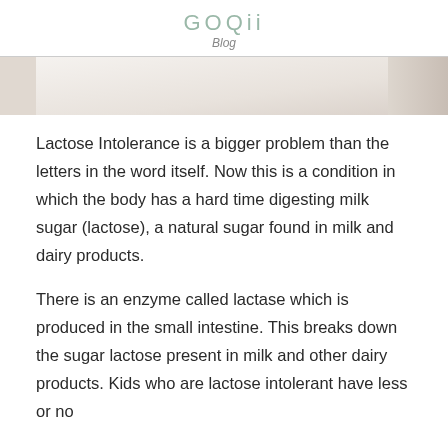GOQii
Blog
[Figure (photo): Partial photo showing white fabric/clothing with a hand visible on the right side]
Lactose Intolerance is a bigger problem than the letters in the word itself. Now this is a condition in which the body has a hard time digesting milk sugar (lactose), a natural sugar found in milk and dairy products.
There is an enzyme called lactase which is produced in the small intestine. This breaks down the sugar lactose present in milk and other dairy products. Kids who are lactose intolerant have less or no